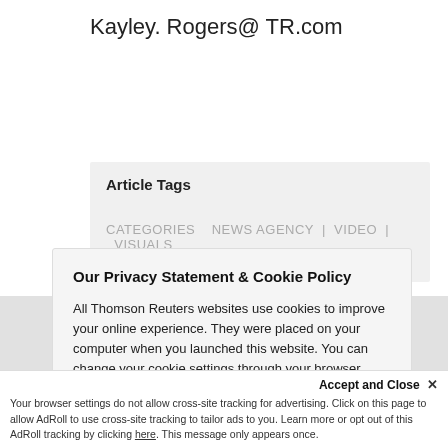Kayley. Rogers@ TR.com
Article Tags
Categories    NEWS AGENCY  |  VIDEO  |  VISUALS
Our Privacy Statement & Cookie Policy
All Thomson Reuters websites use cookies to improve your online experience. They were placed on your computer when you launched this website. You can change your cookie settings through your browser.
Privacy Statement   Cookie Policy
Ok to continue
Accept and Close ✕
Your browser settings do not allow cross-site tracking for advertising. Click on this page to allow AdRoll to use cross-site tracking to tailor ads to you. Learn more or opt out of this AdRoll tracking by clicking here. This message only appears once.